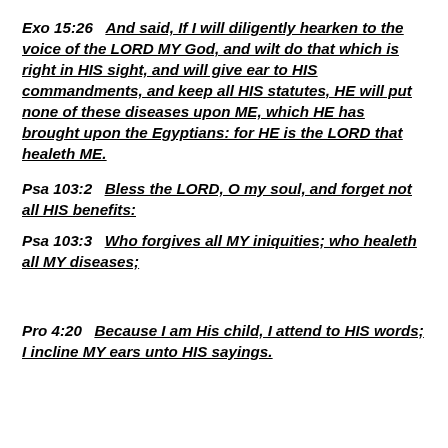Exo 15:26  And said, If I will diligently hearken to the voice of the LORD MY God, and wilt do that which is right in HIS sight, and will give ear to HIS commandments, and keep all HIS statutes, HE will put none of these diseases upon ME, which HE has brought upon the Egyptians: for HE is the LORD that healeth ME.
Psa 103:2  Bless the LORD, O my soul, and forget not all HIS benefits:
Psa 103:3  Who forgives all MY iniquities; who healeth all MY diseases;
Pro 4:20  Because I am His child, I attend to HIS words; I incline MY ears unto HIS sayings.